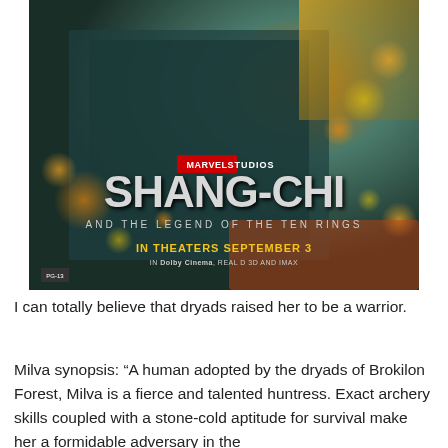[Figure (photo): Movie poster for Marvel Studios' Shang-Chi and the Legend of the Ten Rings. Shows a close-up of a figure in dark armor against a teal/green background with bokeh orange light effects. Text reads: MARVEL STUDIOS, SHANG-CHI, AND THE LEGEND OF THE TEN RINGS, IN THEATERS SEPTEMBER 3, IN Dolby Cinema, REAL D 3D AND IMAX.]
I can totally believe that dryads raised her to be a warrior.
Milva synopsis: “A human adopted by the dryads of Brokilon Forest, Milva is a fierce and talented huntress. Exact archery skills coupled with a stone-cold aptitude for survival make her a formidable adversary in the